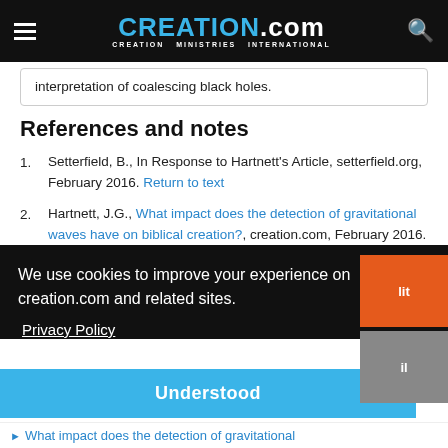CREATION.com — CREATION MINISTRIES INTERNATIONAL
interpretation of coalescing black holes.
References and notes
1. Setterfield, B., In Response to Hartnett's Article, setterfield.org, February 2016. Return to text
2. Hartnett, J.G., What impact does the detection of gravitational waves have on biblical creation?, creation.com, February 2016. Return to text
We use cookies to improve your experience on creation.com and related sites.
Privacy Policy
Understood
What impact does the detection of gravitational